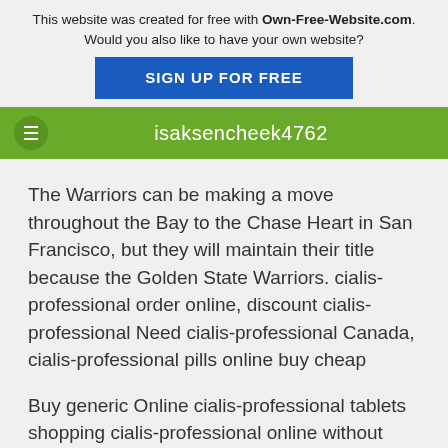This website was created for free with Own-Free-Website.com. Would you also like to have your own website? SIGN UP FOR FREE
isaksencheek4762
The Warriors can be making a move throughout the Bay to the Chase Heart in San Francisco, but they will maintain their title because the Golden State Warriors. cialis-professional order online, discount cialis-professional Need cialis-professional Canada, cialis-professional pills online buy cheap
Buy generic Online cialis-professional tablets shopping cialis-professional online without prescription
Where to buy generic cialis-professional online
Generic cialis-professional online order now
Discount cialis-professional online